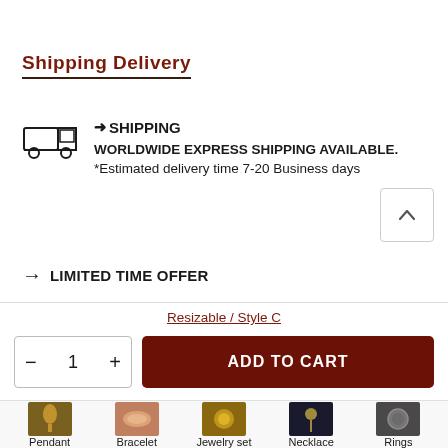Shipping Delivery
→ SHIPPING
WORLDWIDE EXPRESS SHIPPING AVAILABLE.
*Estimated delivery time 7-20 Business days
→ LIMITED TIME OFFER
Resizable / Style C
- 1 +   ADD TO CART
[Figure (other): Bottom navigation thumbnails for: Pendant, Bracelet, Jewelry set, Necklace, Rings]